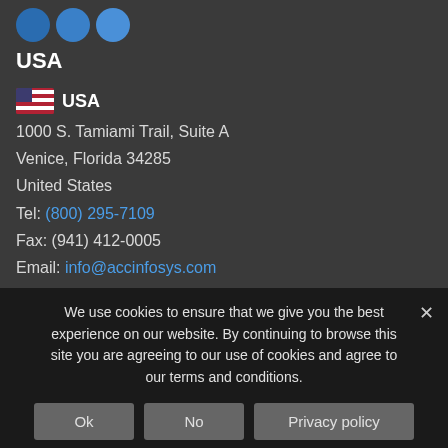[Figure (logo): Three blue circle icons in a row]
USA
[Figure (logo): USA flag icon]
1000 S. Tamiami Trail, Suite A
Venice, Florida 34285
United States
Tel: (800) 295-7109
Fax: (941) 412-0005
Email: info@accinfosys.com
Website: aisbackgroundchecks.com
Australia
We use cookies to ensure that we give you the best experience on our website. By continuing to browse this site you are agreeing to our use of cookies and agree to our terms and conditions.